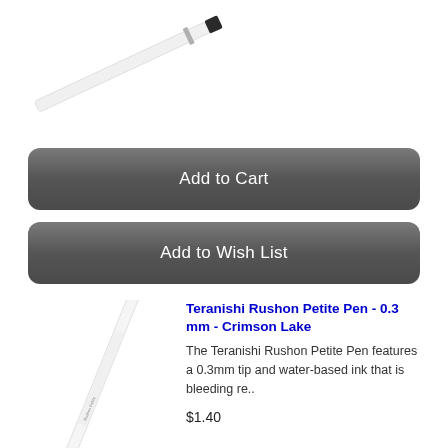[Figure (photo): Top portion of a white fine-tip pen with black end cap, shown diagonally in upper-left area]
[Figure (infographic): Gray rounded rectangle button labeled 'Add to Cart' in white text]
[Figure (infographic): Gray rounded rectangle button labeled 'Add to Wish List' in white text]
[Figure (photo): Full white Teranishi Rushon Petite Pen with red tip and red end cap, shown diagonally]
Teranishi Rushon Petite Pen - 0.3 mm - Crimson Lake
The Teranishi Rushon Petite Pen features a 0.3mm tip and water-based ink that is bleeding re..
$1.40